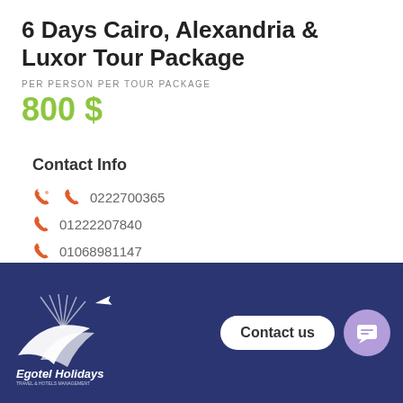6 Days Cairo, Alexandria & Luxor Tour Package
PER PERSON PER TOUR PACKAGE
800 $
Contact Info
0222700365
01222207840
01068981147
01026297175
info@egotelholidays.com
[Figure (logo): Egotel Holidays logo with bird/plane graphic on dark blue footer background, with Contact us button and chat icon]